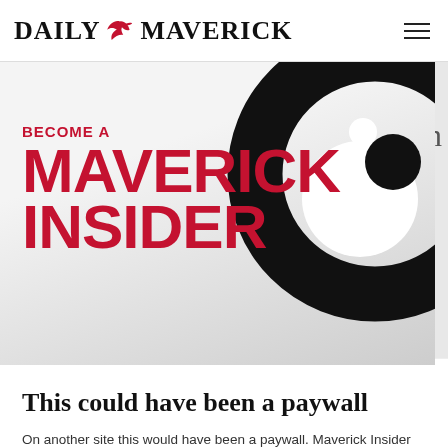DAILY MAVERICK
[Figure (logo): Become a Maverick Insider promotional banner with large red bold text and decorative swirl graphic]
This could have been a paywall
On another site this would have been a paywall. Maverick Insider keeps our content free for all.
Become an Insider
country with advanced missile defence systems.